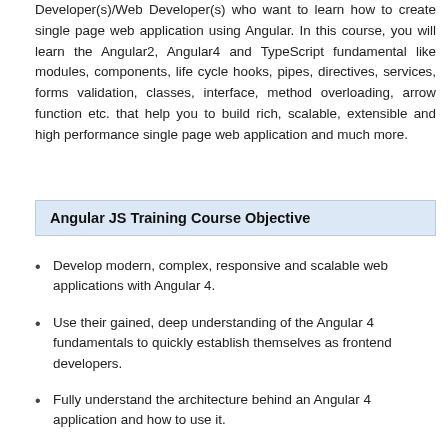Developer(s)/Web Developer(s) who want to learn how to create single page web application using Angular. In this course, you will learn the Angular2, Angular4 and TypeScript fundamental like modules, components, life cycle hooks, pipes, directives, services, forms validation, classes, interface, method overloading, arrow function etc. that help you to build rich, scalable, extensible and high performance single page web application and much more.
Angular JS Training Course Objective
Develop modern, complex, responsive and scalable web applications with Angular 4.
Use their gained, deep understanding of the Angular 4 fundamentals to quickly establish themselves as frontend developers.
Fully understand the architecture behind an Angular 4 application and how to use it.
Create single-page applications with on of the most modern